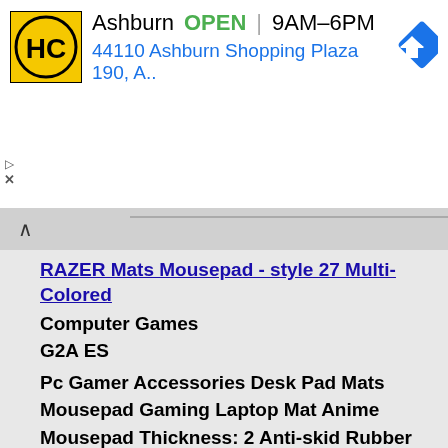[Figure (other): Hardware store advertisement banner: HC logo (yellow background with HC letters in black circle), text reading 'Ashburn OPEN 9AM-6PM' and '44110 Ashburn Shopping Plaza 190, A..' with blue navigation/directions diamond icon on the right]
▷
X
^
RAZER Mats Mousepad - style 27 Multi-Colored
Computer Games
G2A ES
Pc Gamer Accessories Desk Pad Mats Mousepad Gaming Laptop Mat Anime Mousepad Thickness: 2 Anti-skid Rubber Bottom Size: 150x150x2mmThere actually a lot of science, technology and craftsmanship that goes into making a good mousepad, that's great for gaming. we have a pret good idea what makes our mouse sensors tick. An it's that specialized knowledge that we apply to making the right surfaces to react effectively and precisely to your mouse sensors. Live the best experience controling your mouse by using our mousepads